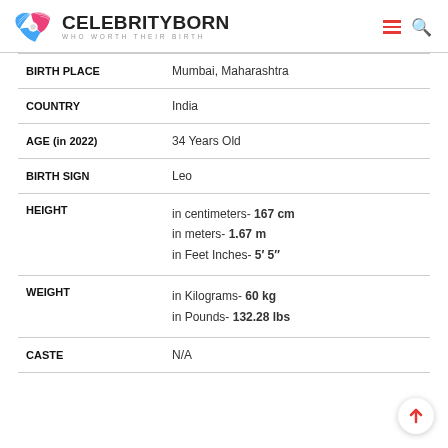CELEBRITYBORN WHO WORTH THEIR BIRTH
| Field | Value |
| --- | --- |
| BIRTH PLACE | Mumbai, Maharashtra |
| COUNTRY | India |
| AGE (in 2022) | 34 Years Old |
| BIRTH SIGN | Leo |
| HEIGHT | in centimeters- 167 cm
in meters- 1.67 m
in Feet Inches- 5′ 5″ |
| WEIGHT | in Kilograms- 60 kg
in Pounds- 132.28 lbs |
| CASTE | N/A |